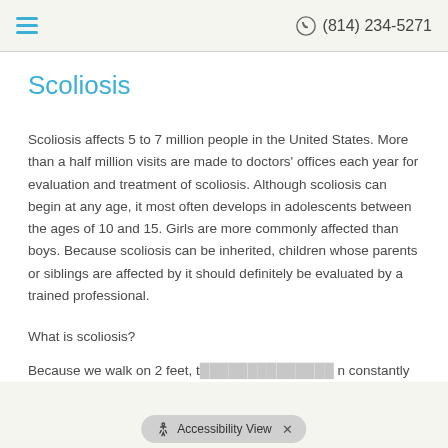≡  (814) 234-5271
Scoliosis
Scoliosis affects 5 to 7 million people in the United States. More than a half million visits are made to doctors' offices each year for evaluation and treatment of scoliosis. Although scoliosis can begin at any age, it most often develops in adolescents between the ages of 10 and 15. Girls are more commonly affected than boys. Because scoliosis can be inherited, children whose parents or siblings are affected by it should definitely be evaluated by a trained professional.
What is scoliosis?
Because we walk on 2 feet, t… constantly